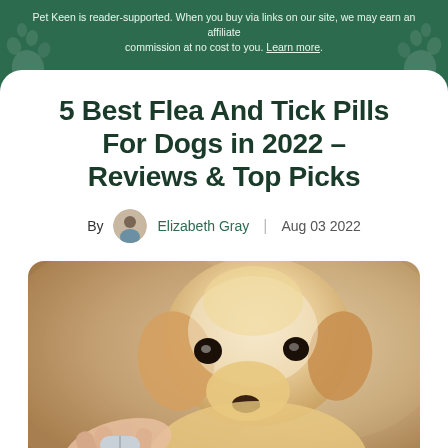Pet Keen is reader-supported. When you buy via links on our site, we may earn an affiliate commission at no cost to you. Learn more.
5 Best Flea And Tick Pills For Dogs in 2022 – Reviews & Top Picks
By Elizabeth Gray | Aug 03 2022
[Figure (photo): A golden labrador puppy sniffing or licking a pill or treat being held by a person's hand, close-up shot with warm beige/tan background]